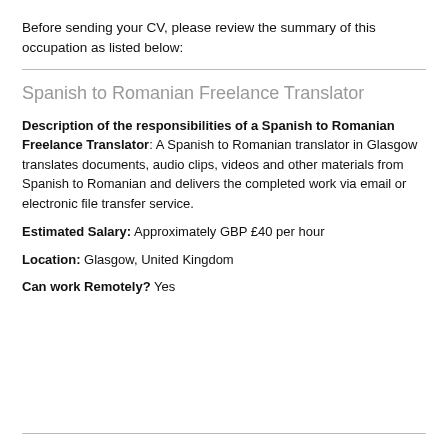Before sending your CV, please review the summary of this occupation as listed below:
Spanish to Romanian Freelance Translator
Description of the responsibilities of a Spanish to Romanian Freelance Translator: A Spanish to Romanian translator in Glasgow translates documents, audio clips, videos and other materials from Spanish to Romanian and delivers the completed work via email or electronic file transfer service.
Estimated Salary: Approximately GBP £40 per hour
Location: Glasgow, United Kingdom
Can work Remotely? Yes